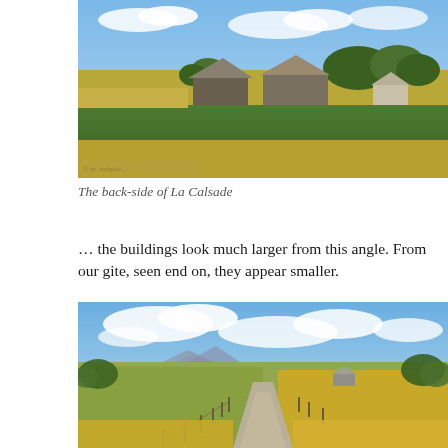[Figure (photo): Photograph of the back-side of La Calsade: a rural farm scene with barns and outbuildings set among green fields, corn crops in the foreground, trees in the background, under a partly cloudy blue sky.]
The back-side of La Calsade
… the buildings look much larger from this angle. From our gite, seen end on, they appear smaller.
[Figure (photo): Photograph of a rural landscape with a narrow gravel track/road winding through flat agricultural fields, mountains visible in the far background, blue sky with clouds above.]